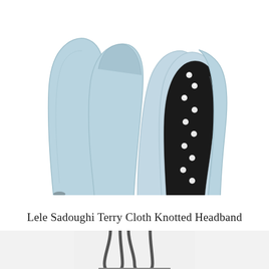[Figure (photo): Close-up product photo of two fabric headbands: one light blue terry cloth knotted headband on the left, and one black headband with small white floral pattern on the right, both photographed upright showing the inner arch on a white background]
Lele Sadoughi Terry Cloth Knotted Headband
[Figure (photo): Partial product photo of a grey/dark structured bag showing the top handles, cropped at the bottom of the page]